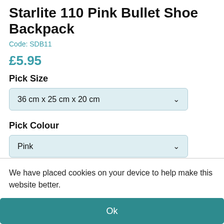Starlite 110 Pink Bullet Shoe Backpack
Code: SDB11
£5.95
Pick Size
36 cm x 25 cm x 20 cm
Pick Colour
Pink
We have placed cookies on your device to help make this website better.
Ok